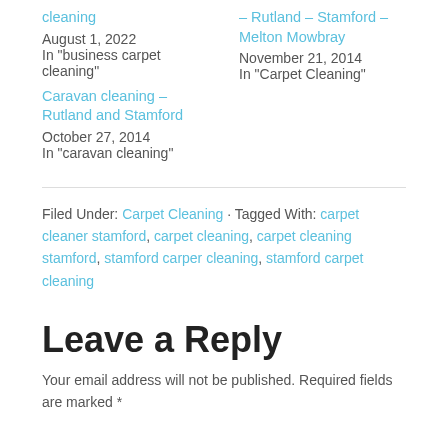cleaning
August 1, 2022
In "business carpet cleaning"
– Rutland – Stamford – Melton Mowbray
November 21, 2014
In "Carpet Cleaning"
Caravan cleaning – Rutland and Stamford
October 27, 2014
In "caravan cleaning"
Filed Under: Carpet Cleaning · Tagged With: carpet cleaner stamford, carpet cleaning, carpet cleaning stamford, stamford carper cleaning, stamford carpet cleaning
Leave a Reply
Your email address will not be published. Required fields are marked *